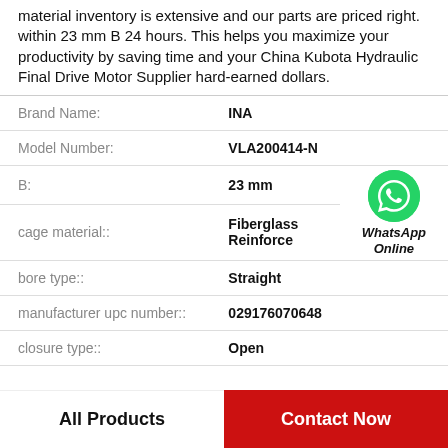material inventory is extensive and our parts are priced right. within 23 mm B 24 hours. This helps you maximize your productivity by saving time and your China Kubota Hydraulic Final Drive Motor Supplier hard-earned dollars.
| Attribute | Value |
| --- | --- |
| Brand Name: | INA |
| Model Number: | VLA200414-N |
| B: | 23 mm |
| cage material:: | Fiberglass Reinforce |
| bore type:: | Straight |
| manufacturer upc number:: | 029176070648 |
| closure type:: | Open |
[Figure (logo): WhatsApp Online green phone icon with text WhatsApp Online]
All Products
Contact Now